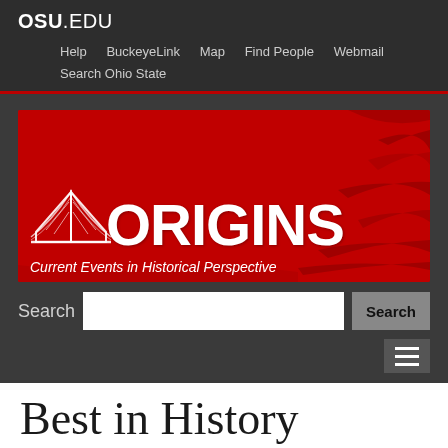OSU.EDU
Help   BuckeyeLink   Map   Find People   Webmail   Search Ohio State
[Figure (logo): ORIGINS - Current Events in Historical Perspective logo on red background with open book illustration]
Search
Best in History Online: Dan Snow's